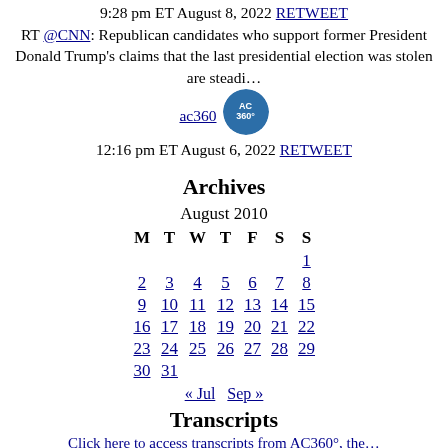9:28 pm ET August 8, 2022 RETWEET
RT @CNN: Republican candidates who support former President Donald Trump's claims that the last presidential election was stolen are steadi…
ac360
12:16 pm ET August 6, 2022 RETWEET
Archives
| M | T | W | T | F | S | S |
| --- | --- | --- | --- | --- | --- | --- |
|  |  |  |  |  |  | 1 |
| 2 | 3 | 4 | 5 | 6 | 7 | 8 |
| 9 | 10 | 11 | 12 | 13 | 14 | 15 |
| 16 | 17 | 18 | 19 | 20 | 21 | 22 |
| 23 | 24 | 25 | 26 | 27 | 28 | 29 |
| 30 | 31 |  |  |  |  |  |
« Jul   Sep »
Transcripts
Click here to access transcripts from AC360°, the…